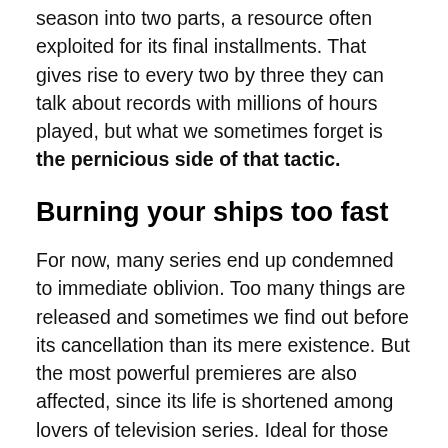season into two parts, a resource often exploited for its final installments. That gives rise to every two by three they can talk about records with millions of hours played, but what we sometimes forget is the pernicious side of that tactic.
Burning your ships too fast
For now, many series end up condemned to immediate oblivion. Too many things are released and sometimes we find out before its cancellation than its mere existence. But the most powerful premieres are also affected, since its life is shortened among lovers of television series. Ideal for those who want to see it as soon as possible, but harmful to the real impact of the same among the public.